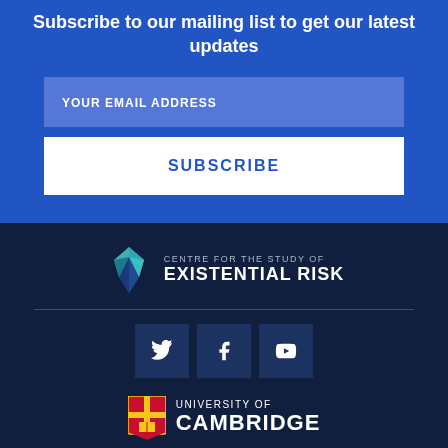Subscribe to our mailing list to get our latest updates
YOUR EMAIL ADDRESS
SUBSCRIBE
[Figure (logo): Centre for the Study of Existential Risk logo with geometric diamond/pyramid icon and text]
[Figure (logo): Social media icons: Twitter, Facebook, YouTube]
[Figure (logo): University of Cambridge shield logo with UNIVERSITY OF CAMBRIDGE text]